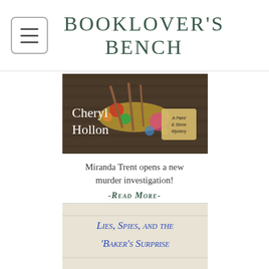BOOKLOVER'S BENCH
[Figure (photo): Book cover for a 'Paint & Stone Mystery' by Cheryl Hollon, showing art supplies scattered on a wooden surface]
Miranda Trent opens a new murder investigation!
-Read More-
[Figure (photo): Book cover showing title 'Lies, Spies, and the Baker's Surprise' in blue decorative font on a light background]